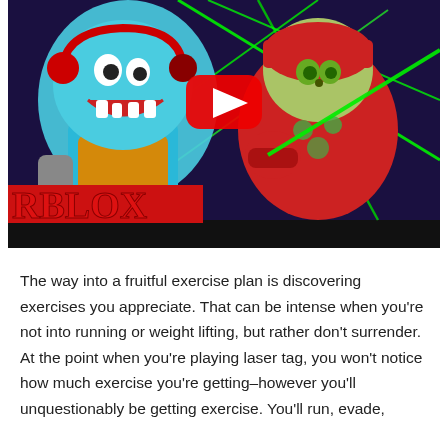[Figure (screenshot): A YouTube video thumbnail showing animated cartoon characters from Roblox. On the left is a blue shark/dog character with red headphones and an open mouth showing teeth. On the right is a green cat character wearing a red mech suit. There are green laser beams crossing the background, and a red YouTube play button is visible in the center. The text 'RBLOX' appears in large red block letters at the bottom left. The lower portion of the thumbnail is black.]
The way into a fruitful exercise plan is discovering exercises you appreciate. That can be intense when you're not into running or weight lifting, but rather don't surrender. At the point when you're playing laser tag, you won't notice how much exercise you're getting–however you'll unquestionably be getting exercise. You'll run, evade,